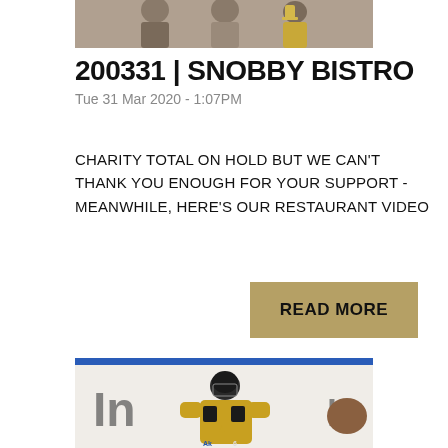[Figure (photo): Top portion of a photo showing people at what appears to be a social gathering or event]
200331 | SNOBBY BISTRO
Tue 31 Mar 2020 - 1:07PM
CHARITY TOTAL ON HOLD BUT WE CAN'T THANK YOU ENOUGH FOR YOUR SUPPORT - MEANWHILE, HERE'S OUR RESTAURANT VIDEO
READ MORE
[Figure (photo): Ice hockey player wearing a yellow/gold jersey on the ice rink, in front of a blue board backdrop with partial text visible]